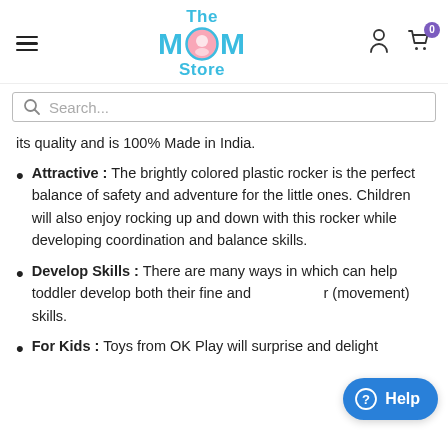The MOM Store — navigation header with hamburger menu, logo, user icon, cart icon (0)
Search...
its quality and is 100% Made in India.
Attractive : The brightly colored plastic rocker is the perfect balance of safety and adventure for the little ones. Children will also enjoy rocking up and down with this rocker while developing coordination and balance skills.
Develop Skills : There are many ways in which can help toddler develop both their fine and (movement) skills.
For Kids : Toys from OK Play will surprise and delight